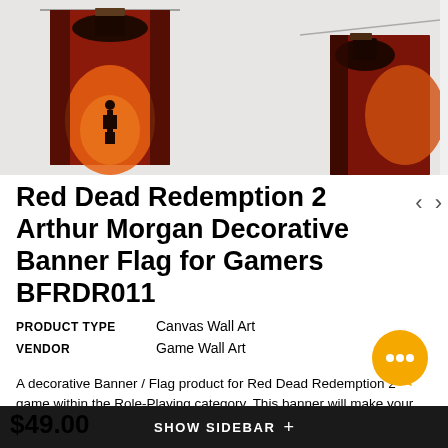[Figure (photo): Two product photos showing a Red Dead Redemption 2 Arthur Morgan decorative banner flag hanging on a wall. Left image shows the full banner with a silhouetted cowboy on a warm orange/red background. Right image shows a close-up detail of the top of the banner with the silhouette figure visible.]
Red Dead Redemption 2 Arthur Morgan Decorative Banner Flag for Gamers BFRDR011
| Attribute | Value |
| --- | --- |
| PRODUCT TYPE | Canvas Wall Art |
| VENDOR | Game Wall Art |
A decorative Banner / Flag product for Red Dead Redemption 2 game within the Role-Playing category. This banner will make your wall look special! There are different sizes of the product and you may find the most appropriate for your walls. Red Dead Redemption 2 Gamer Banner Flag A...
$49.00
SHOW SIDEBAR +